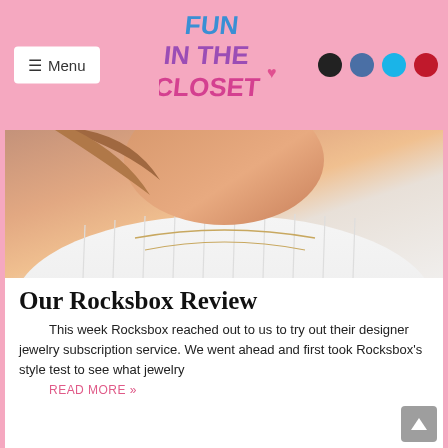Fun In The Closet — Menu | Social icons
[Figure (photo): Close-up photo of a person wearing a white ribbed sleeveless top and delicate layered gold necklaces, face cropped out of frame]
Our Rocksbox Review
This week Rocksbox reached out to us to try out their designer jewelry subscription service. We went ahead and first took Rocksbox's style test to see what jewelry
READ MORE »